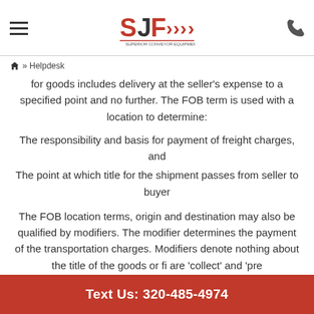SJF >>> [logo] | Hamburger menu | Phone icon
» Helpdesk
for goods includes delivery at the seller's expense to a specified point and no further. The FOB term is used with a location to determine:
The responsibility and basis for payment of freight charges, and
The point at which title for the shipment passes from seller to buyer
The FOB location terms, origin and destination may also be qualified by modifiers. The modifier determines the payment of the transportation charges. Modifiers denote nothing about the title of the goods or fi... are 'collect' and 'pre...
Text Us: 320-485-4974